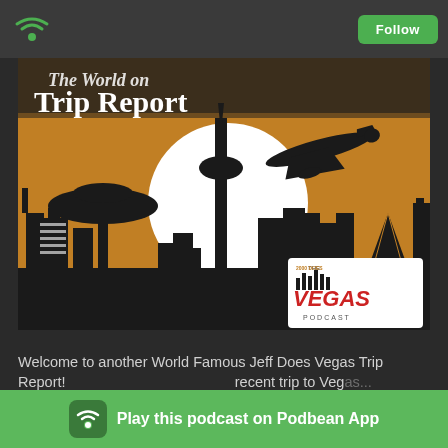Follow
[Figure (illustration): Podcast cover art for 'The World Famous Trip Report' / Jeff Does Vegas podcast. Orange background with black silhouette of Las Vegas skyline including Stratosphere tower, various casino buildings, pyramid (Luxor), and an airplane flying overhead. Large white circle (sun/moon) in background. Bottom right has the Jeff Does Vegas Podcast logo in white and red.]
Welcome to another World Famous Jeff Does Vegas Trip Report! ... recent trip to Vegas...
[Figure (logo): Podbean App banner with green background, Podbean wifi-style icon, and text 'Play this podcast on Podbean App']